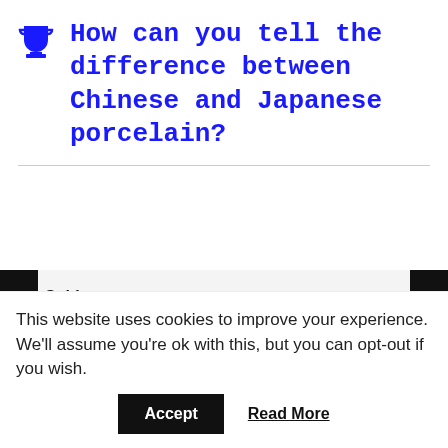🏆 How can you tell the difference between Chinese and Japanese porcelain?
Subject
Subject
Message *
Your Message
This website uses cookies to improve your experience. We'll assume you're ok with this, but you can opt-out if you wish.
Accept
Read More